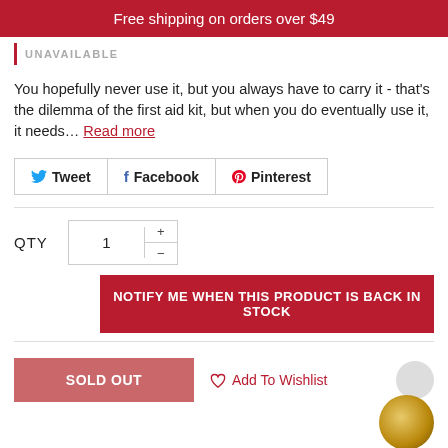Free shipping on orders over $49
UNAVAILABLE
You hopefully never use it, but you always have to carry it - that's the dilemma of the first aid kit, but when you do eventually use it, it needs… Read more
Tweet  Facebook  Pinterest
QTY  1  +  -
NOTIFY ME WHEN THIS PRODUCT IS BACK IN STOCK
SOLD OUT  Add To Wishlist